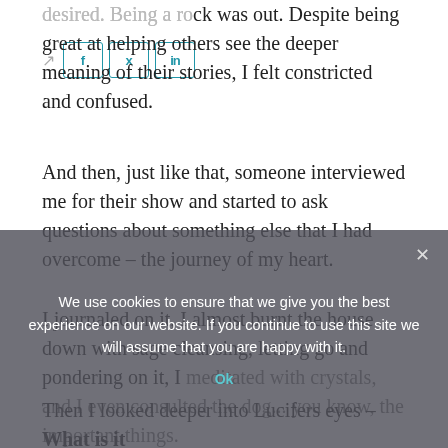desired. Being a rock was out. Despite being great at helping others see the deeper meaning of their stories, I felt constricted and confused.
And then, just like that, someone interviewed me for their show and started to ask questions about something else that I had overcome – the journey of my heart.
I journaled on it, I almost burnt the house down with sage cleansing, letting go and pondering on it, I meditated with crystals, and I even consulted the dog... you know, the important things.
Then I looked deeper into Lucifers eyes – What is it
We use cookies to ensure that we give you the best experience on our website. If you continue to use this site we will assume that you are happy with it.